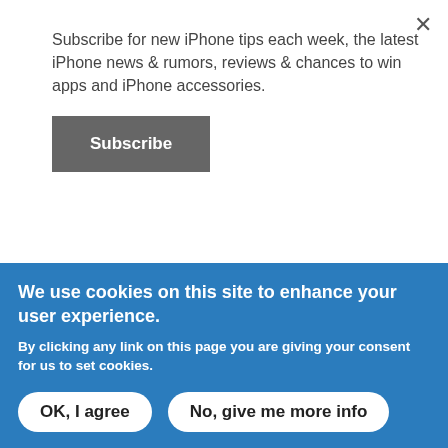Subscribe for new iPhone tips each week, the latest iPhone news & rumors, reviews & chances to win apps and iPhone accessories.
Subscribe
Anonymous replied on September 14, 2007 - 3:27am PERMALINK
We use cookies on this site to enhance your user experience.
By clicking any link on this page you are giving your consent for us to set cookies.
OK, I agree
No, give me more info